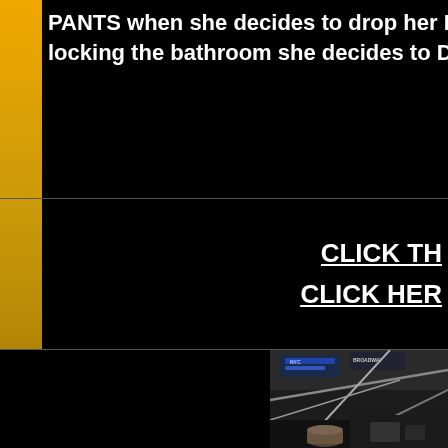PANTS when she decides to drop her H... locking the bathroom she decides to D...
CLICK TH...
CLICK HER...
[Figure (photo): A street or urban scene photograph, partially visible, appears to show signage and street furniture, possibly New York City.]